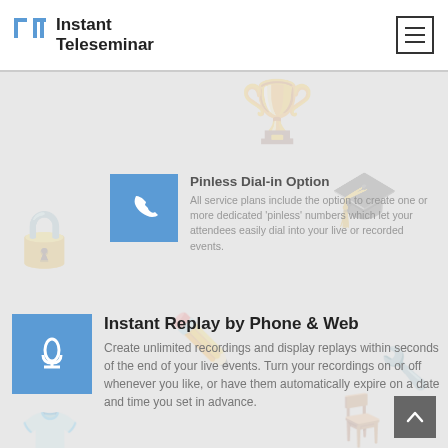Instant Teleseminar
Pinless Dial-in Option
All service plans include the option to create one or more dedicated 'pinless' numbers which let your attendees easily dial into your live or recorded events.
Instant Replay by Phone & Web
Create unlimited recordings and display replays within seconds of the end of your live events. Turn your recordings on or off whenever you like, or have them automatically expire on a date and time you set in advance.